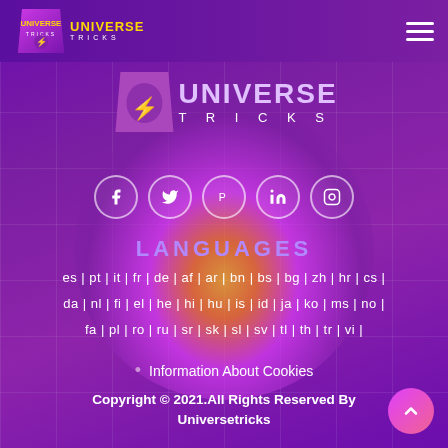[Figure (logo): Universe Tricks logo in navbar - purple trapezoid badge with character and UNIVERSE TRICKS text]
[Figure (logo): Universe Tricks center logo - larger badge with character and UNIVERSE / TRICKS lettering]
[Figure (infographic): Five social media icon circles: Facebook, Twitter, Pinterest, LinkedIn, Instagram]
LANGUAGES
es | pt | it | fr | de | af | ar | bn | bs | bg | zh | hr | cs | da | nl | fi | el | he | hi | hu | is | id | ja | ko | ms | no | fa | pl | ro | ru | sr | sk | sl | sv | tl | th | tr | vi |
Information About Cookies
Copyright © 2021.All Rights Reserved By Universetricks